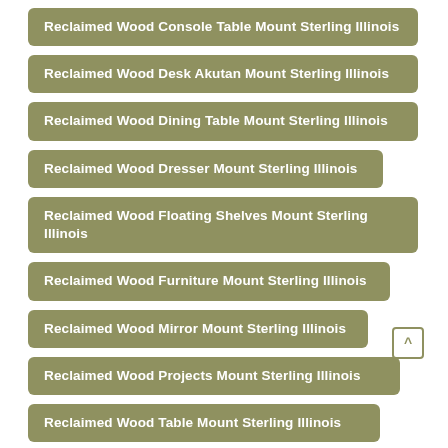Reclaimed Wood Console Table Mount Sterling Illinois
Reclaimed Wood Desk Akutan Mount Sterling Illinois
Reclaimed Wood Dining Table Mount Sterling Illinois
Reclaimed Wood Dresser Mount Sterling Illinois
Reclaimed Wood Floating Shelves Mount Sterling Illinois
Reclaimed Wood Furniture Mount Sterling Illinois
Reclaimed Wood Mirror Mount Sterling Illinois
Reclaimed Wood Projects Mount Sterling Illinois
Reclaimed Wood Table Mount Sterling Illinois
Reclaimed Wood Tv Stand Mount Sterling Illinois